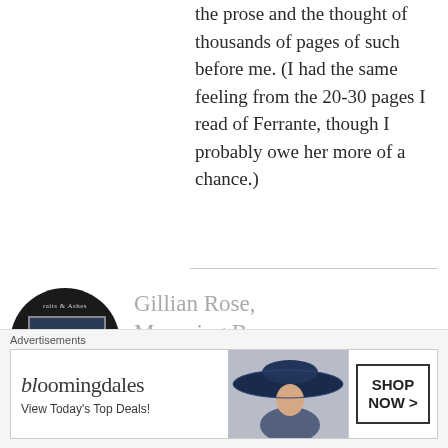the prose and the thought of thousands of pages of such before me. (I had the same feeling from the 20-30 pages I read of Ferrante, though I probably owe her more of a chance.)
[Figure (illustration): Circular black book cover thumbnail showing 'Straits & Ashes' text at top, a dark navy blue rectangular book cover image in the center, and 'John Pistelli' text at the bottom, all within a dark circle]
Gillian Rose, Mourning Becomes the Law | John Pistelli
Advertisements
[Figure (screenshot): Bloomingdale's advertisement banner. Left side shows 'bloomingdales' logo in stylized text with tagline 'View Today's Top Deals!'. Center shows a woman in a large navy blue sun hat. Right side has a box with 'SHOP NOW >' text.]